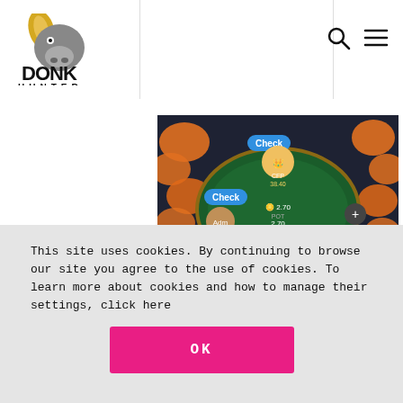DONK HUNTER
[Figure (screenshot): Online poker game screenshot showing a poker table with cartoon character avatars including one resembling Trump, playing cards (10, J, 5, 6, K) on a dark green felt table, surrounded by orange cartoon fish decorations. Labels show 'Check', player names and chip amounts.]
Poker in the Quarantine period
IN NEWS, BLOGS
Coronavirus has changed the world as we know it, and it is no different for poker. Unlike most
This site uses cookies. By continuing to browse our site you agree to the use of cookies. To learn more about cookies and how to manage their settings, click here
OK